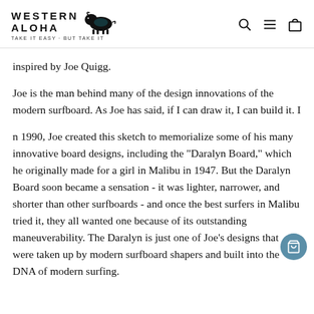WESTERN ALOHA — TAKE IT EASY · BUT TAKE IT
inspired by Joe Quigg.
Joe is the man behind many of the design innovations of the modern surfboard. As Joe has said, if I can draw it, I can build it. I
n 1990, Joe created this sketch to memorialize some of his many innovative board designs, including the "Daralyn Board," which he originally made for a girl in Malibu in 1947. But the Daralyn Board soon became a sensation - it was lighter, narrower, and shorter than other surfboards - and once the best surfers in Malibu tried it, they all wanted one because of its outstanding maneuverability. The Daralyn is just one of Joe's designs that were taken up by modern surfboard shapers and built into the DNA of modern surfing.